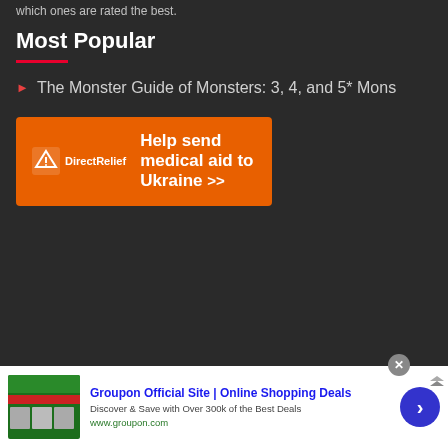which ones are rated the best.
Most Popular
The Monster Guide of Monsters: 3, 4, and 5* Mons
[Figure (other): DirectRelief orange advertisement banner: Help send medical aid to Ukraine >>]
[Figure (other): Groupon advertisement: Groupon Official Site | Online Shopping Deals. Discover & Save with Over 300k of the Best Deals. www.groupon.com]